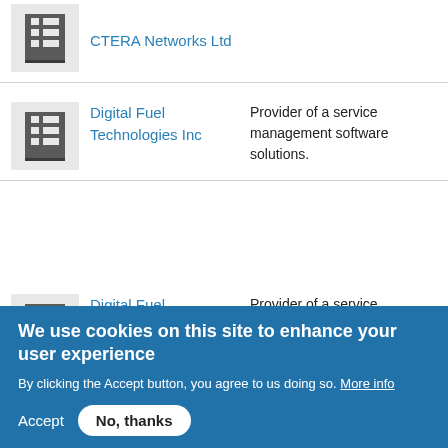CTERA Networks Ltd
Digital Fuel Technologies Inc — Provider of a service management software solutions.
Digital Fuel Technologies Inc — Provider of a service management software solutions.
Developer of
We use cookies on this site to enhance your user experience
By clicking the Accept button, you agree to us doing so. More info
Accept  No, thanks